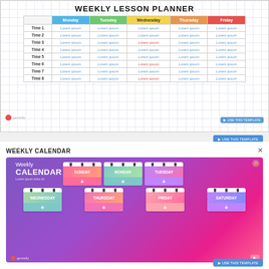WEEKLY LESSON PLANNER
|  | Monday | Tuesday | Wednesday | Thursday | Friday |
| --- | --- | --- | --- | --- | --- |
| Time 1 | Lorem ipsum | Lorem ipsum | Lorem ipsum | Lorem ipsum | Lorem ipsum |
| Time 2 | Lorem ipsum | Lorem ipsum | Lorem ipsum | Lorem ipsum | Lorem ipsum |
| Time 3 | Lorem ipsum | Lorem ipsum | Lorem ipsum | Lorem ipsum | Lorem ipsum |
| Time 4 | Lorem ipsum | Lorem ipsum | Lorem ipsum | Lorem ipsum | Lorem ipsum |
| Time 5 | Lorem ipsum | Lorem ipsum | Lorem ipsum | Lorem ipsum | Lorem ipsum |
| Time 6 | Lorem ipsum | Lorem ipsum | Lorem ipsum | Lorem ipsum | Lorem ipsum |
| Time 7 | Lorem ipsum | Lorem ipsum | Lorem ipsum | Lorem ipsum | Lorem ipsum |
| Time 8 | Lorem ipsum | Lorem ipsum | Lorem ipsum | Lorem ipsum | Lorem ipsum |
WEEKLY CALENDAR
[Figure (illustration): Weekly Calendar template showing colorful notebook-style calendar cards for each day of the week (Sunday through Saturday) on a purple-pink gradient background, with a 'Weekly CALENDAR' branding and Lorem ipsum text on the left side.]